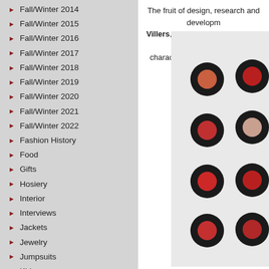Fall/Winter 2014
Fall/Winter 2015
Fall/Winter 2016
Fall/Winter 2017
Fall/Winter 2018
Fall/Winter 2019
Fall/Winter 2020
Fall/Winter 2021
Fall/Winter 2022
Fashion History
Food
Gifts
Hosiery
Interior
Interviews
Jackets
Jewelry
Jumpsuits
Kids
Knitwear
Lifestyle
Limited Editions
The fruit of design, research and development according to Vanessa de Villers, CEO of Hermès Perfume & Beauty. True to the values that characterises Hermès, Hermès Beauty
[Figure (photo): Rows of Hermès lipstick caps arranged in a grid on a white background, showing various red and rose shades with dark outer rings]